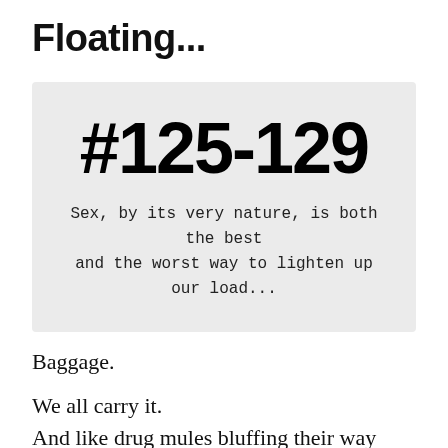Floating...
[Figure (other): Gray box containing large bold text '#125-129' and a subtitle in monospace: 'Sex, by its very nature, is both the best and the worst way to lighten up our load...']
Baggage.
We all carry it.
And like drug mules bluffing their way through customs, we all lie about what we carry.